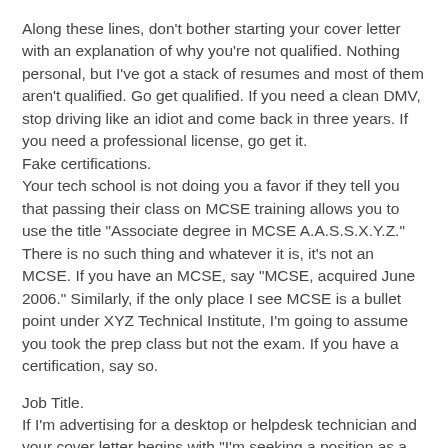Along these lines, don't bother starting your cover letter with an explanation of why you're not qualified. Nothing personal, but I've got a stack of resumes and most of them aren't qualified. Go get qualified. If you need a clean DMV, stop driving like an idiot and come back in three years. If you need a professional license, go get it.
Fake certifications.
Your tech school is not doing you a favor if they tell you that passing their class on MCSE training allows you to use the title "Associate degree in MCSE A.A.S.S.X.Y.Z." There is no such thing and whatever it is, it's not an MCSE. If you have an MCSE, say "MCSE, acquired June 2006." Similarly, if the only place I see MCSE is a bullet point under XYZ Technical Institute, I'm going to assume you took the prep class but not the exam. If you have a certification, say so.
Job Title.
If I'm advertising for a desktop or helpdesk technician and your cover letter begins with "I'm seeking a position as a programmer" I stop reading and delete. If your speciality is